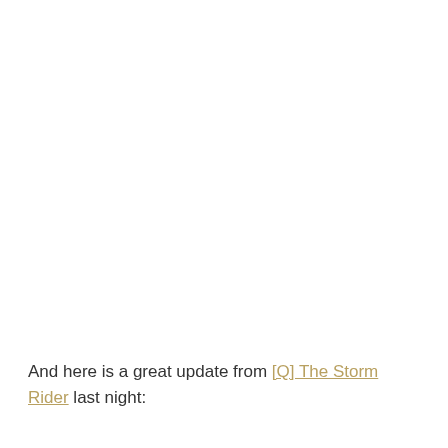And here is a great update from [Q] The Storm Rider last night: